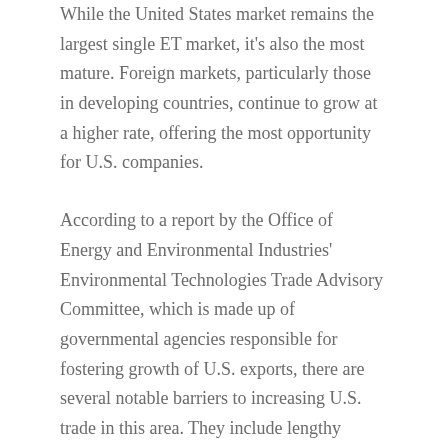While the United States market remains the largest single ET market, it's also the most mature. Foreign markets, particularly those in developing countries, continue to grow at a higher rate, offering the most opportunity for U.S. companies.
According to a report by the Office of Energy and Environmental Industries' Environmental Technologies Trade Advisory Committee, which is made up of governmental agencies responsible for fostering growth of U.S. exports, there are several notable barriers to increasing U.S. trade in this area. They include lengthy and/or nontransparent approval processes, incompatible standards, and legal and regulatory framework issues. Nonetheless, the report also states that the U.S. is well-positioned to compete on the international scene due to factors such as market share, workforce experience, and a highly